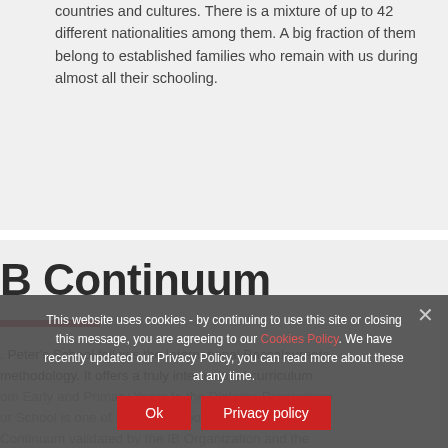countries and cultures. There is a mixture of up to 42 different nationalities among them. A big fraction of them belong to established families who remain with us during almost all their schooling.
IB Continuum
St. Peter's School follows the International Baccalaureate methodology. It offers a truly international curriculum from Early and Primary Years to the Diploma Programme. Our School is one of the few Schools in Europe with the IB Continuum validated by the IB Organization and the only one with English as the main language of teaching and learning.
This website uses cookies - by continuing to use this site or closing this message, you are agreeing to our Cookies Policy. We have recently updated our Privacy Policy, you can read more about these at any time.